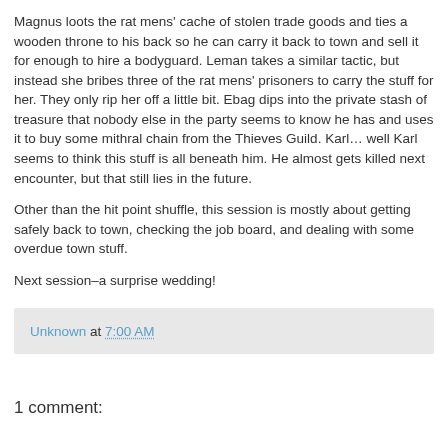Magnus loots the rat mens' cache of stolen trade goods and ties a wooden throne to his back so he can carry it back to town and sell it for enough to hire a bodyguard. Leman takes a similar tactic, but instead she bribes three of the rat mens' prisoners to carry the stuff for her. They only rip her off a little bit. Ebag dips into the private stash of treasure that nobody else in the party seems to know he has and uses it to buy some mithral chain from the Thieves Guild. Karl… well Karl seems to think this stuff is all beneath him. He almost gets killed next encounter, but that still lies in the future.
Other than the hit point shuffle, this session is mostly about getting safely back to town, checking the job board, and dealing with some overdue town stuff.
Next session–a surprise wedding!
Unknown at 7:00 AM
1 comment: